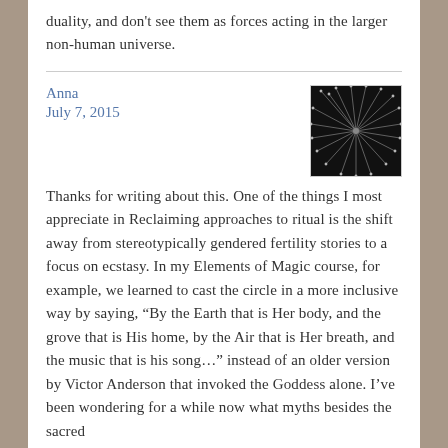duality, and don't see them as forces acting in the larger non-human universe.
Anna
July 7, 2015
[Figure (photo): Black and white close-up photograph of a dandelion seed head showing radiating filaments]
Thanks for writing about this. One of the things I most appreciate in Reclaiming approaches to ritual is the shift away from stereotypically gendered fertility stories to a focus on ecstasy. In my Elements of Magic course, for example, we learned to cast the circle in a more inclusive way by saying, “By the Earth that is Her body, and the grove that is His home, by the Air that is Her breath, and the music that is his song…” instead of an older version by Victor Anderson that invoked the Goddess alone. I’ve been wondering for a while now what myths besides the sacred